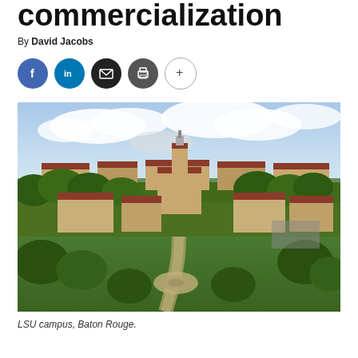commercialization
By David Jacobs
[Figure (photo): Aerial view of LSU campus in Baton Rouge, showing red-roofed buildings, green trees, central tower, and fountain in foreground]
LSU campus, Baton Rouge.